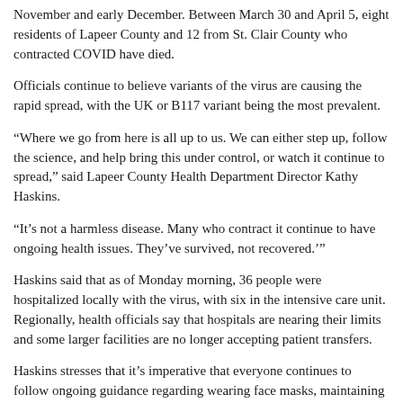November and early December. Between March 30 and April 5, eight residents of Lapeer County and 12 from St. Clair County who contracted COVID have died.
Officials continue to believe variants of the virus are causing the rapid spread, with the UK or B117 variant being the most prevalent.
“Where we go from here is all up to us. We can either step up, follow the science, and help bring this under control, or watch it continue to spread,” said Lapeer County Health Department Director Kathy Haskins.
“It’s not a harmless disease. Many who contract it continue to have ongoing health issues. They’ve survived, not recovered.’”
Haskins said that as of Monday morning, 36 people were hospitalized locally with the virus, with six in the intensive care unit. Regionally, health officials say that hospitals are nearing their limits and some larger facilities are no longer accepting patient transfers.
Haskins stresses that it’s imperative that everyone continues to follow ongoing guidance regarding wearing face masks, maintaining physical distance, regular hand washing, quarantines and getting the vaccine. Dr. Annette Mercatante of the St. Clair County